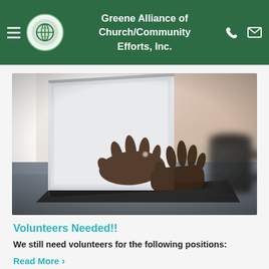Greene Alliance of Church/Community Efforts, Inc.
[Figure (photo): Close-up photo of hands typing on a laptop keyboard, with a coffee mug blurred in the background on the right, and a bright window behind on the left.]
Volunteers Needed!!
We still need volunteers for the following positions:
Read More >